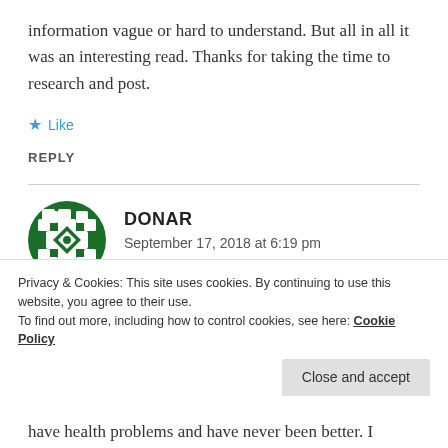information vague or hard to understand. But all in all it was an interesting read. Thanks for taking the time to research and post.
★ Like
REPLY
[Figure (illustration): Green decorative geometric avatar icon for commenter DONAR]
DONAR
September 17, 2018 at 6:19 pm
Privacy & Cookies: This site uses cookies. By continuing to use this website, you agree to their use.
To find out more, including how to control cookies, see here: Cookie Policy
Close and accept
have health problems and have never been better. I